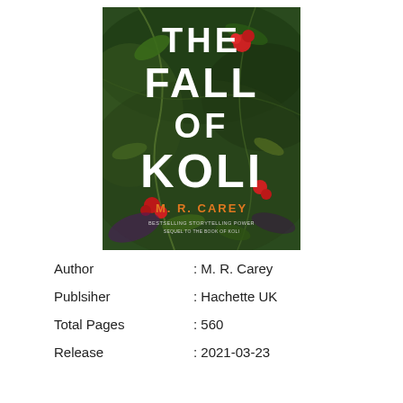[Figure (illustration): Book cover of 'The Fall of Koli' by M. R. Carey. Dark green jungle/forest background with red berries and foliage. Large white block letters spell out 'THE FALL OF KOLI'. Author name 'M. R. CAREY' in orange text near the bottom. Small tagline text below the author name.]
| Author | : M. R. Carey |
| Publsiher | : Hachette UK |
| Total Pages | : 560 |
| Release | : 2021-03-23 |